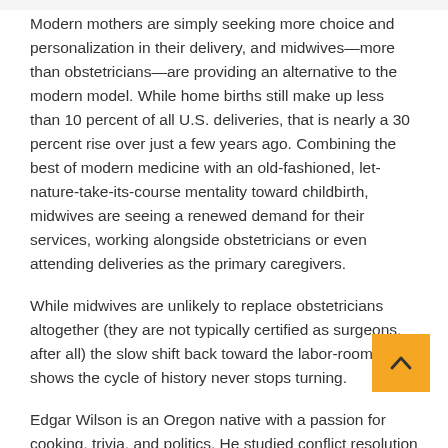Modern mothers are simply seeking more choice and personalization in their delivery, and midwives—more than obstetricians—are providing an alternative to the modern model. While home births still make up less than 10 percent of all U.S. deliveries, that is nearly a 30 percent rise over just a few years ago. Combining the best of modern medicine with an old-fashioned, let-nature-take-its-course mentality toward childbirth, midwives are seeing a renewed demand for their services, working alongside obstetricians or even attending deliveries as the primary caregivers.
While midwives are unlikely to replace obstetricians altogether (they are not typically certified as surgeons, after all) the slow shift back toward the labor-room of old shows the cycle of history never stops turning.
Edgar Wilson is an Oregon native with a passion for cooking, trivia, and politics. He studied conflict resolution and international relations at Amherst College, and has